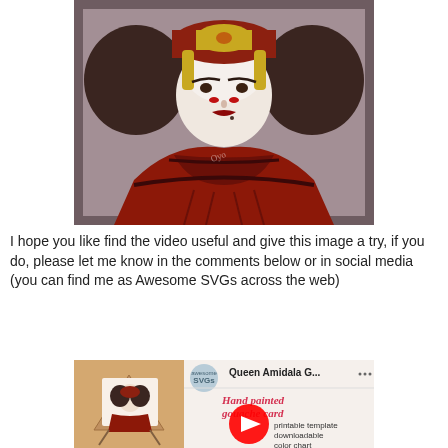[Figure (illustration): Digital illustration of Queen Amidala from Star Wars, wearing red robes and golden headdress with large dark hair buns, on a muted purple/grey background. Watermark 'Oyo' visible.]
I hope you like find the video useful and give this image a try, if you do, please let me know in the comments below or in social media (you can find me as Awesome SVGs across the web)
[Figure (screenshot): YouTube video thumbnail showing a Queen Amidala gouache card tutorial by Awesome SVGs channel. Text reads 'Queen Amidala G...' with hand-painted text 'Hand painted gouache card' and 'printable template downloadable color chart'. Red YouTube play button in center.]